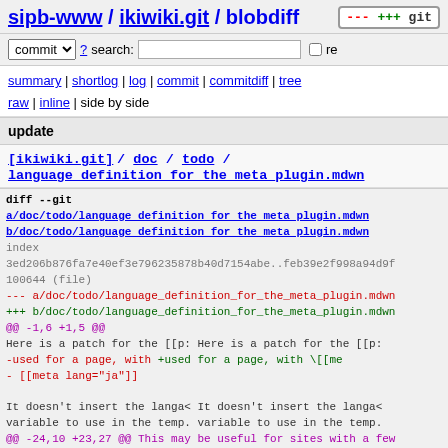sipb-www / ikiwiki.git / blobdiff
commit ? search: re
summary | shortlog | log | commit | commitdiff | tree
raw | inline | side by side
update
[ikiwiki.git] / doc / todo / language_definition_for_the_meta_plugin.mdwn
diff --git a/doc/todo/language definition for the meta plugin.mdwn b/doc/todo/language definition for the meta plugin.mdwn
index 3ed206b876fa7e40ef3e796235878b40d7154abe..feb39e2f998a94d9fc
100644 (file)
--- a/doc/todo/language_definition_for_the_meta_plugin.mdwn
+++ b/doc/todo/language_definition_for_the_meta_plugin.mdwn
@@ -1,6 +1,5 @@
 Here is a patch for the [[p: Here is a patch for the [[p:
-used for a page, with      +used for a page, with \[[me
-     [[meta lang="ja"]]
 
 It doesn't insert the langa< It doesn't insert the langa<
 variable to use in the temp. variable to use in the temp.
@@ -24,10 +23,27 @@ This may be useful for sites with a few